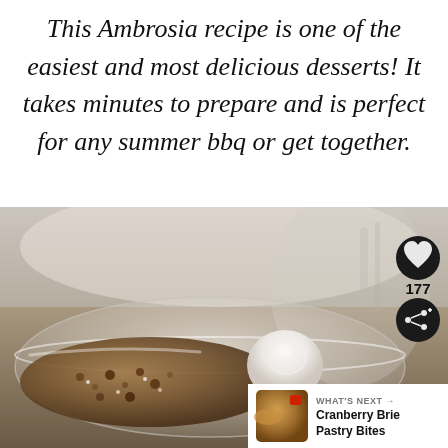This Ambrosia recipe is one of the easiest and most delicious desserts! It takes minutes to prepare and is perfect for any summer bbq or get together.
[Figure (photo): Close-up food photo of an Ambrosia dessert in a clear glass bowl with whipped cream swirl, granola/crumble topping, and fresh strawberries, with a heart/save button, 177 count, and share button overlay on the right side, plus a 'What's Next' card showing Cranberry Brie Pastry Bites in the bottom right corner.]